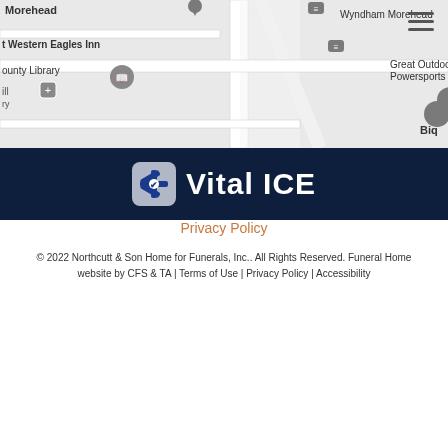[Figure (map): Street map showing Morehead area with pins for Best Western Eagles Inn, County Library, AutoZone Auto Parts, Wyndham Morehead, Great Outdoor Powersports & more locations. Roads and streets visible.]
[Figure (logo): Vital ICE logo: a rounded square icon with a blue star of life symbol on grey background, followed by white bold text 'Vital ICE' on a dark navy blue banner background.]
Privacy Policy
© 2022 Northcutt & Son Home for Funerals, Inc.. All Rights Reserved. Funeral Home website by CFS & TA | Terms of Use | Privacy Policy | Accessibility